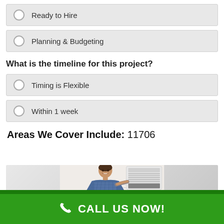Ready to Hire
Planning & Budgeting
What is the timeline for this project?
Timing is Flexible
Within 1 week
Areas We Cover Include: 11706
[Figure (photo): Smiling male HVAC technician in blue checkered shirt standing next to a wall-mounted air conditioning unit]
CALL US NOW!